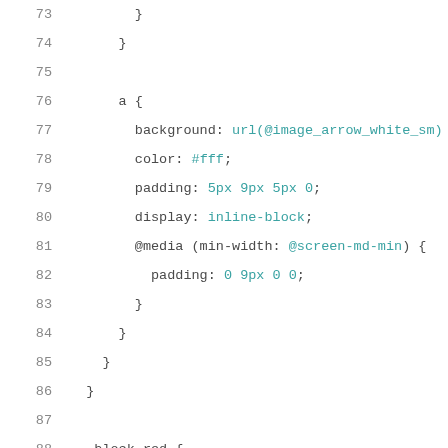[Figure (screenshot): Code editor screenshot showing CSS/LESS code lines 73-93 with syntax highlighting. Line numbers in gray on the left, CSS selectors and property names in dark/plain color, values in cyan, and LESS variables in purple.]